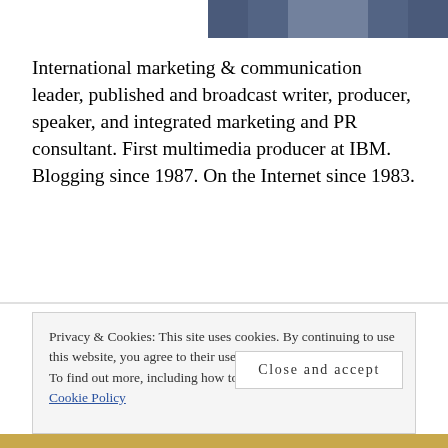[Figure (photo): Partial photo of a person in a suit and tie, cropped at top of page]
International marketing & communication leader, published and broadcast writer, producer, speaker, and integrated marketing and PR consultant. First multimedia producer at IBM. Blogging since 1987. On the Internet since 1983.
Mike@RMichaelBrown.com
561-756-1674
Privacy & Cookies: This site uses cookies. By continuing to use this website, you agree to their use.
To find out more, including how to control cookies, see here: Cookie Policy
Close and accept